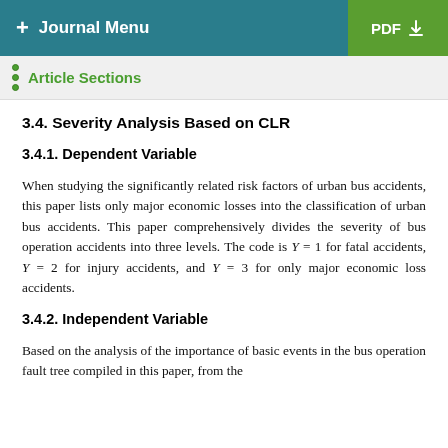+ Journal Menu    PDF ↓
Article Sections
3.4. Severity Analysis Based on CLR
3.4.1. Dependent Variable
When studying the significantly related risk factors of urban bus accidents, this paper lists only major economic losses into the classification of urban bus accidents. This paper comprehensively divides the severity of bus operation accidents into three levels. The code is Y=1 for fatal accidents, Y=2 for injury accidents, and Y=3 for only major economic loss accidents.
3.4.2. Independent Variable
Based on the analysis of the importance of basic events in the bus operation fault tree compiled in this paper, from the